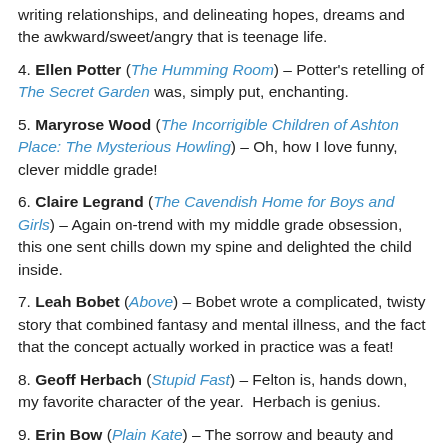writing relationships, and delineating hopes, dreams and the awkward/sweet/angry that is teenage life.
4. Ellen Potter (The Humming Room) – Potter's retelling of The Secret Garden was, simply put, enchanting.
5. Maryrose Wood (The Incorrigible Children of Ashton Place: The Mysterious Howling) – Oh, how I love funny, clever middle grade!
6. Claire Legrand (The Cavendish Home for Boys and Girls) – Again on-trend with my middle grade obsession, this one sent chills down my spine and delighted the child inside.
7. Leah Bobet (Above) – Bobet wrote a complicated, twisty story that combined fantasy and mental illness, and the fact that the concept actually worked in practice was a feat!
8. Geoff Herbach (Stupid Fast) – Felton is, hands down, my favorite character of the year.  Herbach is genius.
9. Erin Bow (Plain Kate) – The sorrow and beauty and